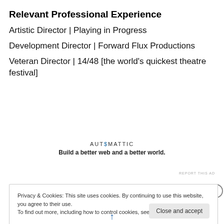Relevant Professional Experience
Artistic Director | Playing in Progress
Development Director | Forward Flux Productions
Veteran Director | 14/48 [the world's quickest theatre festival]
[Figure (logo): Automattic logo with tagline: Build a better web and a better world.]
REPORT THIS AD
Privacy & Cookies: This site uses cookies. By continuing to use this website, you agree to their use. To find out more, including how to control cookies, see here: Cookie Policy
Close and accept